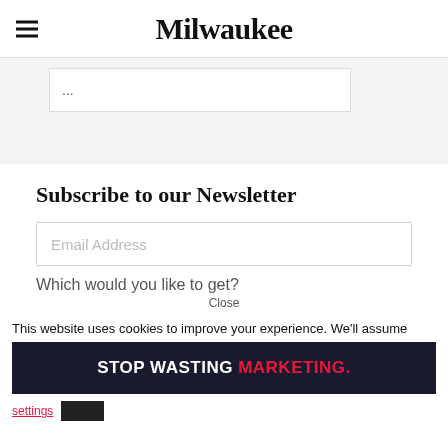Milwaukee
...
Subscribe to our Newsletter
Email Address
Which would you like to get?
Close
This website uses cookies to improve your experience. We'll assume
[Figure (other): Advertisement banner: STOP WASTING MARKETING. in white and red bold text on dark navy background]
settings